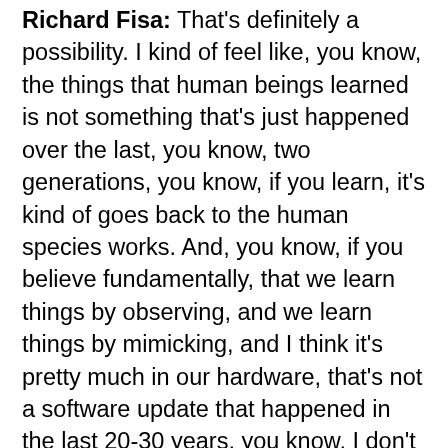Richard Fisa: That's definitely a possibility. I kind of feel like, you know, the things that human beings learned is not something that's just happened over the last, you know, two generations, you know, if you learn, it's kind of goes back to the human species works. And, you know, if you believe fundamentally, that we learn things by observing, and we learn things by mimicking, and I think it's pretty much in our hardware, that's not a software update that happened in the last 20-30 years, you know, I don't think long term, it's going to be very effective. And I think I could see, for example, a gap, if this goes on for a really long time, I can see a gap in expertise and training, for example, in young lawyers, where they never really learned a lot things that, you know, typically see. oh, you know, again, this all depends on how old the thing the pandemic goes for. But that's